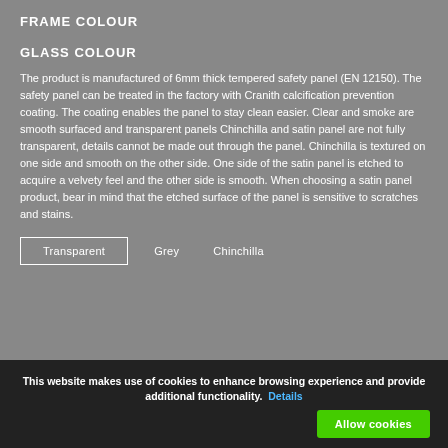FRAME COLOUR
GLASS COLOUR
The product is manufactured of 6mm thick tempered safety panel (EN 12150). The safety panel can be treated in the factory with Cranith calcification prevention coating. The coating enables the panel to stay clean easier. Clear and smoke are smooth surfaced and transparent panels Chinchilla and satin panel are not fully transparent, details cannot be made out through the panel. Chinchilla is textured on one side and smooth on the other side. One side of the satin panel is etched to acquire a velvety feel and the other side is smooth. When choosing a satin panel product, bear in mind that the etched surface of the panel is sensitive to scratches and stains.
Transparent
Grey
Chinchilla
This website makes use of cookies to enhance browsing experience and provide additional functionality. Details
Allow cookies